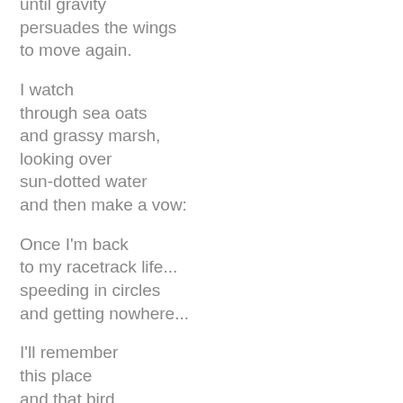until gravity
persuades the wings
to move again.

I watch
through sea oats
and grassy marsh,
looking over
sun-dotted water
and then make a vow:

Once I'm back
to my racetrack life...
speeding in circles
and getting nowhere...

I'll remember
this place
and that bird
and this moment.

I'll hold it